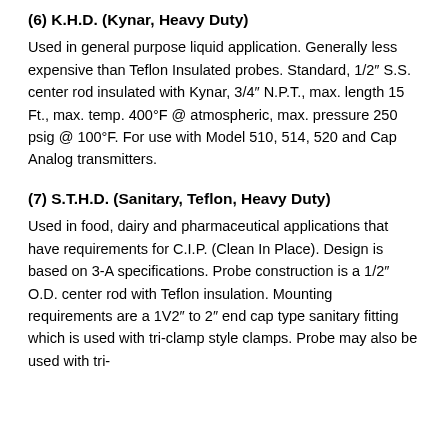(6) K.H.D. (Kynar, Heavy Duty)
Used in general purpose liquid application. Generally less expensive than Teflon Insulated probes. Standard, 1/2" S.S. center rod insulated with Kynar, 3/4" N.P.T., max. length 15 Ft., max. temp. 400°F @ atmospheric, max. pressure 250 psig @ 100°F. For use with Model 510, 514, 520 and Cap Analog transmitters.
(7) S.T.H.D. (Sanitary, Teflon, Heavy Duty)
Used in food, dairy and pharmaceutical applications that have requirements for C.I.P. (Clean In Place). Design is based on 3-A specifications. Probe construction is a 1/2" O.D. center rod with Teflon insulation. Mounting requirements are a 1V2" to 2" end cap type sanitary fitting which is used with tri-clamp style clamps. Probe may also be used with...